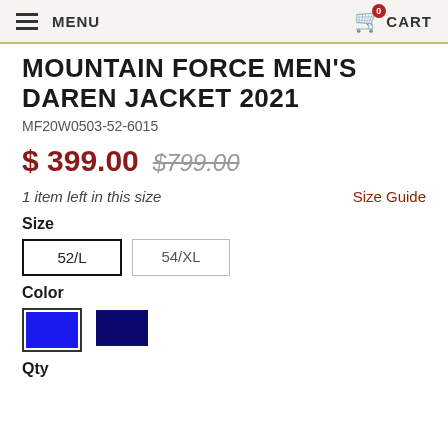MENU  CART
MOUNTAIN FORCE MEN'S DAREN JACKET 2021
MF20W0503-52-6015
$ 399.00  $799.00
1 item left in this size
Size Guide
Size
52/L  54/XL
Color
[Figure (illustration): Two color swatches: bright blue (selected, with border) and dark navy blue]
Qty